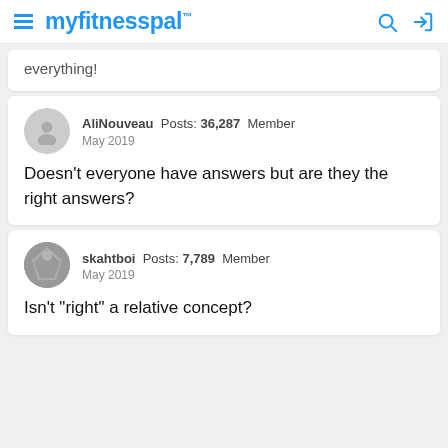myfitnesspal
everything!
AliNouveau  Posts: 36,287  Member
May 2019

Doesn't everyone have answers but are they the right answers?
skahtboi  Posts: 7,789  Member
May 2019

Isn't "right" a relative concept?